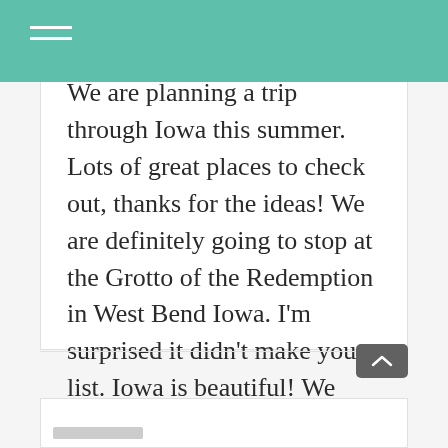We are planning a trip through Iowa this summer. Lots of great places to check out, thanks for the ideas! We are definitely going to stop at the Grotto of the Redemption in West Bend Iowa. I'm surprised it didn't make your list. Iowa is beautiful! We lived in Des Moines for two years in the 70's and loved it there. We're now retired and taking our time traveling in our motorhome.